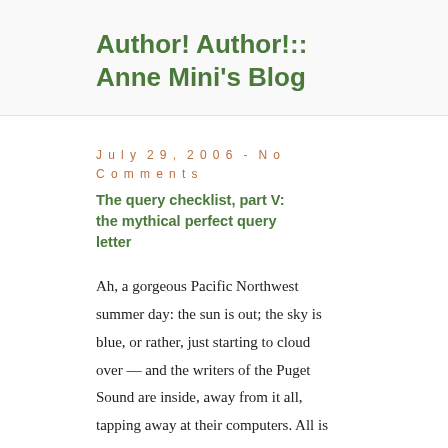Author! Author!:: Anne Mini's Blog
July 29, 2006 - No Comments
The query checklist, part V: the mythical perfect query letter
Ah, a gorgeous Pacific Northwest summer day: the sun is out; the sky is blue, or rather, just starting to cloud over — and the writers of the Puget Sound are inside, away from it all, tapping away at their computers. All is right with the world.
Today will be the last